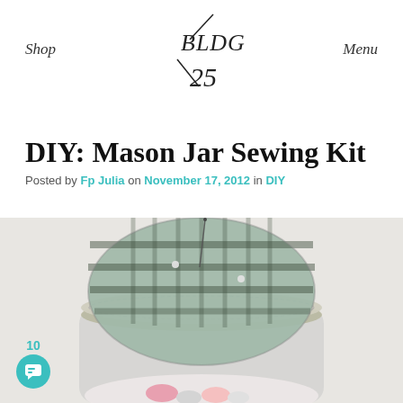Shop | BLDG 25 | Menu
DIY: Mason Jar Sewing Kit
Posted by Fp Julia on November 17, 2012 in DIY
[Figure (photo): A mason jar with a fabric pin cushion lid (black and grey plaid fabric), with a sewing needle sticking out of it and sewing supplies visible inside the jar.]